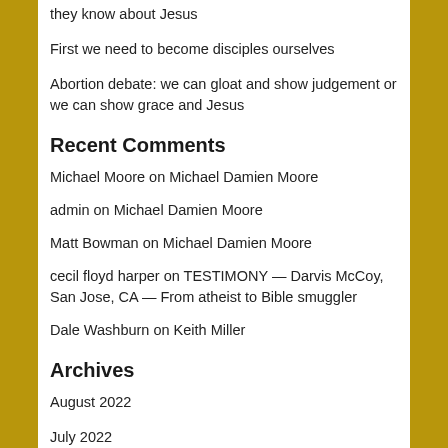they know about Jesus
First we need to become disciples ourselves
Abortion debate: we can gloat and show judgement or we can show grace and Jesus
Recent Comments
Michael Moore on Michael Damien Moore
admin on Michael Damien Moore
Matt Bowman on Michael Damien Moore
cecil floyd harper on TESTIMONY — Darvis McCoy, San Jose, CA — From atheist to Bible smuggler
Dale Washburn on Keith Miller
Archives
August 2022
July 2022